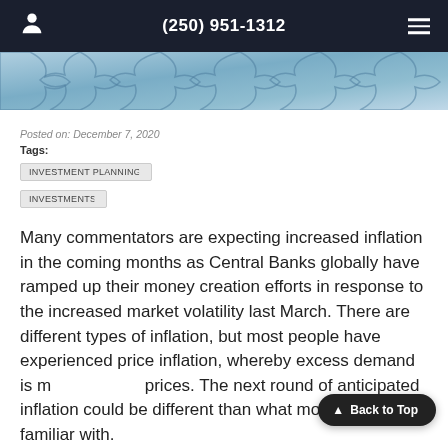(250) 951-1312
[Figure (photo): Blue puzzle pieces background image]
Posted on: December 7, 2020
Tags:
INVESTMENT PLANNING
INVESTMENTS
Many commentators are expecting increased inflation in the coming months as Central Banks globally have ramped up their money creation efforts in response to the increased market volatility last March. There are different types of inflation, but most people have experienced price inflation, whereby excess demand is me... prices. The next round of anticipated inflation could be different than what most people are familiar with.